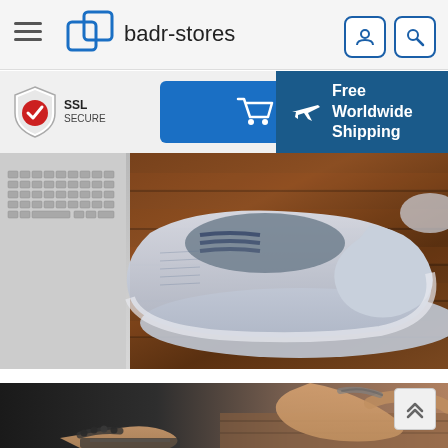badr-stores — navigation header with hamburger menu, logo, user icon, search icon
[Figure (screenshot): SSL SECURE badge, blue cart button, and Free Worldwide Shipping teal banner]
[Figure (photo): Canvas slip-on shoe on wooden table next to laptop]
[Figure (photo): Hands with jewelry resting on wooden table, partial view]